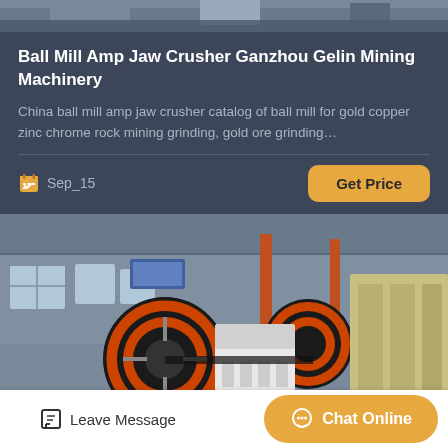[Figure (photo): Top portion of industrial machinery photo, partially cropped]
Ball Mill Amp Jaw Crusher Ganzhou Gelin Mining Machinery
China ball mill amp jaw crusher catalog of ball mill for gold copper zinc chrome rock mining grinding, gold ore grinding…
Sep_15
[Figure (photo): Industrial facility interior showing large ball mills and jaw crushers with orange flywheels in a factory warehouse setting]
Leave Message
Chat Online